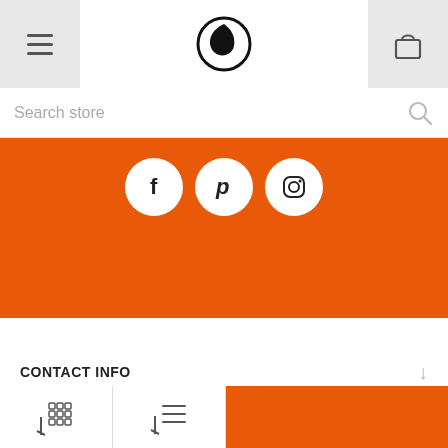Header with hamburger menu, logo, and cart icon
Search store
[Figure (illustration): Orange banner with three circular social media icons: Facebook (f), Pinterest (P), Instagram]
CONTACT INFO
INFORMATION
CUSTOMER SERVICE
MY ACCOUNT
Footer navigation bar with sort/filter icons on orange background